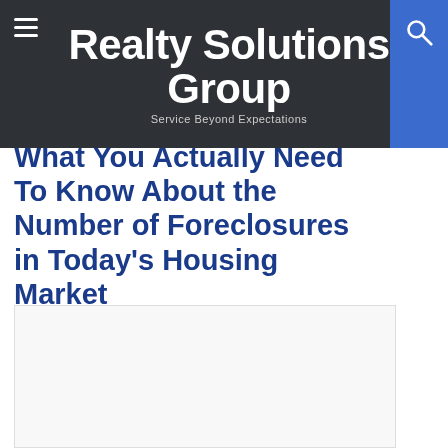Realty Solutions Group
Service Beyond Expectations
What You Actually Need To Know About the Number of Foreclosures in Today's Housing Market
[Figure (photo): Placeholder image box for article illustration]